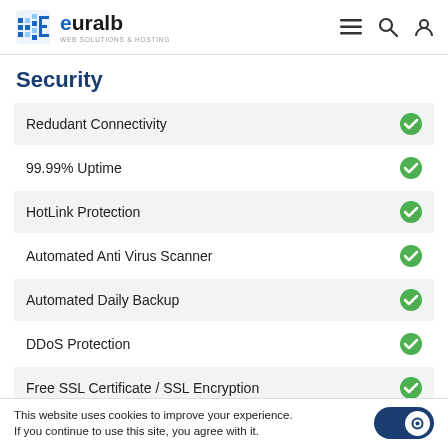euralb — WEB SOLUTIONS & HOSTING
Security
Redudant Connectivity
99.99% Uptime
HotLink Protection
Automated Anti Virus Scanner
Automated Daily Backup
DDoS Protection
Free SSL Certificate / SSL Encryption
Domains
This website uses cookies to improve your experience. If you continue to use this site, you agree with it.